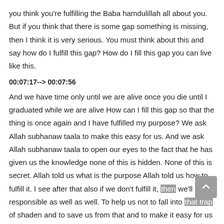you think you're fulfilling the Baba hamdulillah all about you. But if you think that there is some gap something is missing, then I think it is very serious. You must think about this and say how do I fulfill this gap? How do I fill this gap you can live like this.
00:07:17--> 00:07:56
And we have time only until we are alive once you die until I graduated while we are alive How can I fill this gap so that the thing is once again and I have fulfilled my purpose? We ask Allah subhanaw taala to make this easy for us. And we ask Allah subhanaw taala to open our eyes to the fact that he has given us the knowledge none of this is hidden. None of this is secret. Allah told us what is the purpose Allah told us how to fulfill it. I see after that also if we don't fulfill it, then we'll be responsible as well as well. To help us not to fall into that trap of shaden and to save us from that and to make it easy for us and to